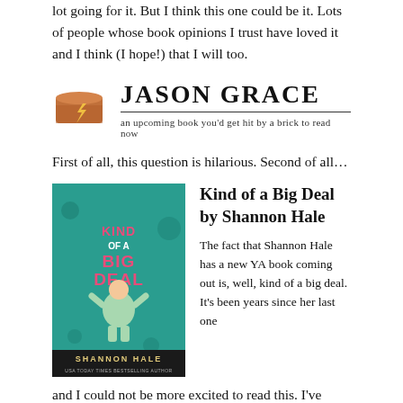lot going for it. But I think this one could be it. Lots of people whose book opinions I trust have loved it and I think (I hope!) that I will too.
[Figure (illustration): Jason Grace logo: a brick icon on the left, bold serif text 'JASON GRACE' to the right with a horizontal rule beneath, and the tagline 'an upcoming book you'd get hit by a brick to read now' below.]
First of all, this question is hilarious. Second of all...
[Figure (illustration): Book cover for 'Kind of a Big Deal' by Shannon Hale — teal background with illustrated girl and accessories, pink bold text title.]
Kind of a Big Deal by Shannon Hale
The fact that Shannon Hale has a new YA book coming out is, well, kind of a big deal. It's been years since her last one and I could not be more excited to read this. I've literally been checking NetGalley and Edelweiss weekly to see if it's available and emailed the publisher about getting an ARC.